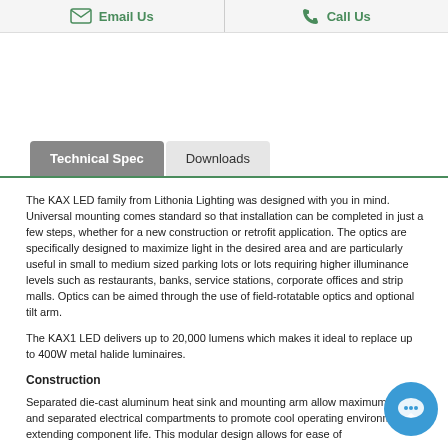Email Us  |  Call Us
Technical Spec   Downloads
The KAX LED family from Lithonia Lighting was designed with you in mind. Universal mounting comes standard so that installation can be completed in just a few steps, whether for a new construction or retrofit application. The optics are specifically designed to maximize light in the desired area and are particularly useful in small to medium sized parking lots or lots requiring higher illuminance levels such as restaurants, banks, service stations, corporate offices and strip malls. Optics can be aimed through the use of field-rotatable optics and optional tilt arm.
The KAX1 LED delivers up to 20,000 lumens which makes it ideal to replace up to 400W metal halide luminaires.
Construction
Separated die-cast aluminum heat sink and mounting arm allow maximum flow and separated electrical compartments to promote cool operating environments extending component life. This modular design allows for ease of